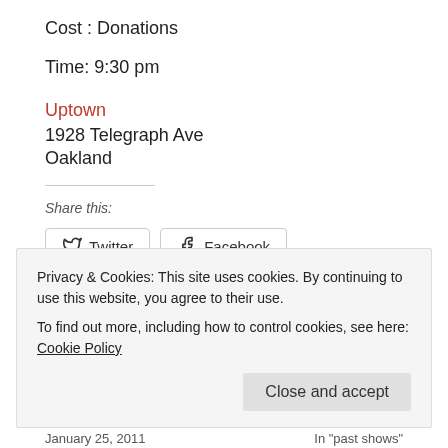Cost : Donations
Time: 9:30 pm
Uptown
1928 Telegraph Ave
Oakland
Share this:
Twitter
Facebook
Like
Be the first to like this.
Privacy & Cookies: This site uses cookies. By continuing to use this website, you agree to their use.
To find out more, including how to control cookies, see here: Cookie Policy
Close and accept
January 25, 2011	In "past shows"